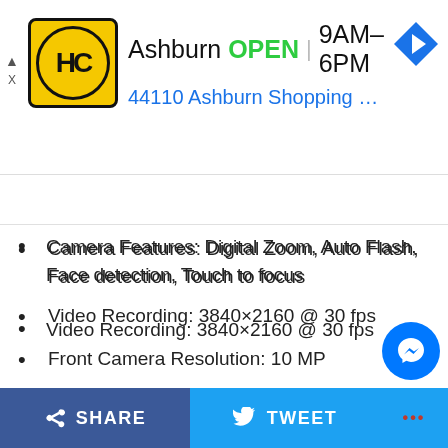[Figure (screenshot): Advertisement banner for HC (Hamlin Capital or similar) business in Ashburn, showing logo, OPEN status, hours 9AM-6PM, address 44110 Ashburn Shopping Plaza 190, A..., and navigation arrow icon]
Dynamic Range mode (HDR)
Camera Features: Digital Zoom, Auto Flash, Face detection, Touch to focus
Video Recording: 3840×2160 @ 30 fps
Front Camera Resolution: 10 MP
Battery
[Figure (illustration): Battery icon showing low battery level with red indicator, nearly empty]
[Figure (illustration): Second battery icon outline, empty, positioned lower and to the right]
[Figure (other): Facebook Messenger chat button (blue circle with white lightning bolt)]
SHARE   TWEET   ...